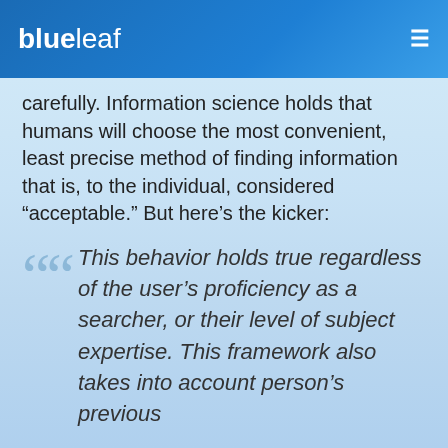blueleaf
carefully. Information science holds that humans will choose the most convenient, least precise method of finding information that is, to the individual, considered “acceptable.” But here’s the kicker:
“This behavior holds true regardless of the user’s proficiency as a searcher, or their level of subject expertise. This framework also takes into account person’s previous